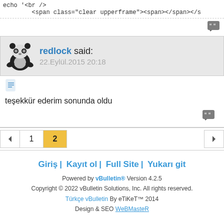echo '<br />
        <span class="clear upperframe"><span></span></s
[Figure (other): Quote icon button top right]
redlock said:
22.Eylül.2015 20:18
[Figure (other): Document/note icon]
teşekkür ederim sonunda oldu
[Figure (other): Quote icon button bottom right]
Pagination: previous | 1 | 2 (active) | next
Giriş | Kayıt ol | Full Site | Yukarı git
Powered by vBulletin® Version 4.2.5
Copyright © 2022 vBulletin Solutions, Inc. All rights reserved.
Türkçe vBulletin By eTiKeT™ 2014
Design & SEO WeBMasteR